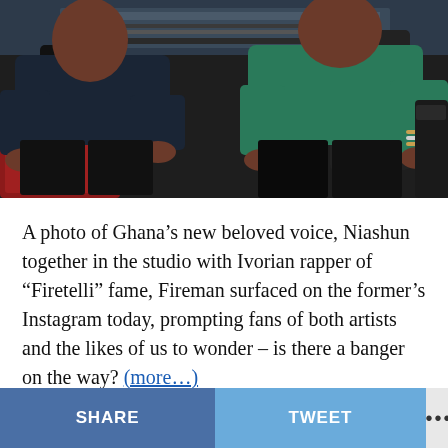[Figure (photo): Two men sitting in a recording studio. The man on the left wears a dark navy shirt and black pants, seated in a red chair. The man on the right wears a teal/green shirt and dark pants, with bracelets visible on his wrist. Studio equipment is visible in the background.]
A photo of Ghana’s new beloved voice, Niashun together in the studio with Ivorian rapper of “Firetelli” fame, Fireman surfaced on the former’s Instagram today, prompting fans of both artists and the likes of us to wonder – is there a banger on the way? (more…)
SHARE  TWEET  •••